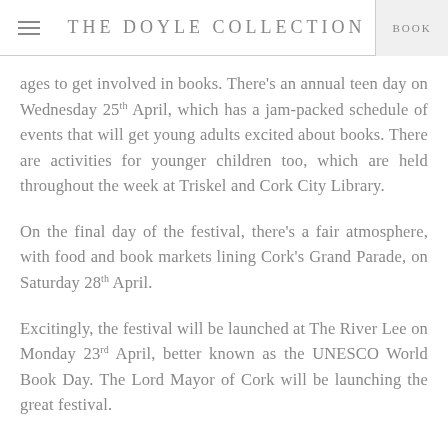THE DOYLE COLLECTION | BOOK
ages to get involved in books. There's an annual teen day on Wednesday 25th April, which has a jam-packed schedule of events that will get young adults excited about books. There are activities for younger children too, which are held throughout the week at Triskel and Cork City Library.
On the final day of the festival, there's a fair atmosphere, with food and book markets lining Cork's Grand Parade, on Saturday 28th April.
Excitingly, the festival will be launched at The River Lee on Monday 23rd April, better known as the UNESCO World Book Day. The Lord Mayor of Cork will be launching the great festival.